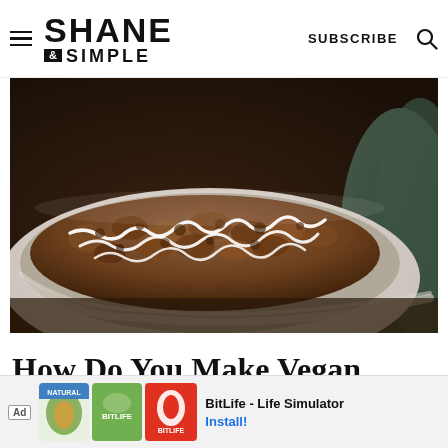SHANE & SIMPLE — SUBSCRIBE
[Figure (photo): Close-up photo of a baked crumble dessert in a white ceramic baking dish, drizzled with white icing/glaze, with a dark green cloth visible in the background.]
How Do You Make Vegan
Fre... Wi...
Ad — BitLife - Life Simulator — Install!